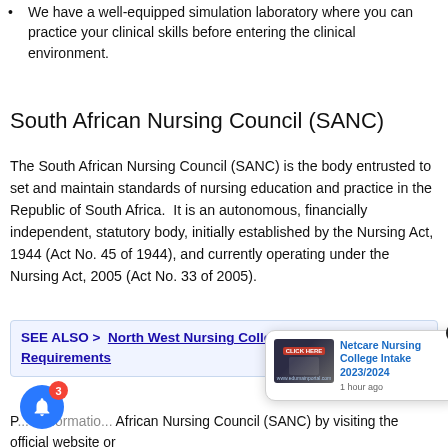We have a well-equipped simulation laboratory where you can practice your clinical skills before entering the clinical environment.
South African Nursing Council (SANC)
The South African Nursing Council (SANC) is the body entrusted to set and maintain standards of nursing education and practice in the Republic of South Africa.  It is an autonomous, financially independent, statutory body, initially established by the Nursing Act, 1944 (Act No. 45 of 1944), and currently operating under the Nursing Act, 2005 (Act No. 33 of 2005).
SEE ALSO >  North West Nursing College Admission Requirements
[Figure (screenshot): Notification popup showing 'Netcare Nursing College Intake 2023/2024' with image and '1 hour ago' timestamp, plus a close button X]
P...e informatio... African Nursing Council (SANC) by visiting the official website or